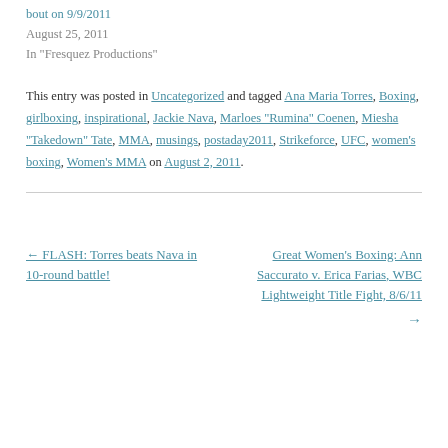bout on 9/9/2011
August 25, 2011
In "Fresquez Productions"
This entry was posted in Uncategorized and tagged Ana Maria Torres, Boxing, girlboxing, inspirational, Jackie Nava, Marloes "Rumina" Coenen, Miesha "Takedown" Tate, MMA, musings, postaday2011, Strikeforce, UFC, women's boxing, Women's MMA on August 2, 2011.
← FLASH: Torres beats Nava in 10-round battle!
Great Women's Boxing: Ann Saccurato v. Erica Farias, WBC Lightweight Title Fight, 8/6/11 →